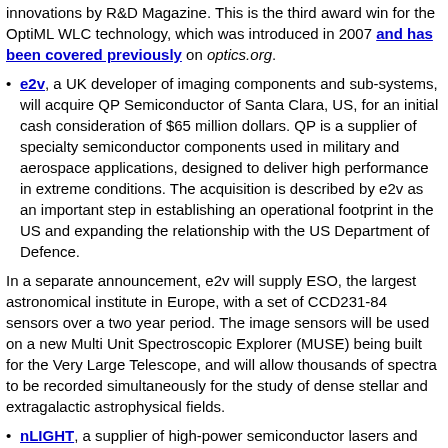innovations by R&D Magazine. This is the third award win for the OptiML WLC technology, which was introduced in 2007 and has been covered previously on optics.org.
e2v, a UK developer of imaging components and sub-systems, will acquire QP Semiconductor of Santa Clara, US, for an initial cash consideration of $65 million dollars. QP is a supplier of specialty semiconductor components used in military and aerospace applications, designed to deliver high performance in extreme conditions. The acquisition is described by e2v as an important step in establishing an operational footprint in the US and expanding the relationship with the US Department of Defence.
In a separate announcement, e2v will supply ESO, the largest astronomical institute in Europe, with a set of CCD231-84 sensors over a two year period. The image sensors will be used on a new Multi Unit Spectroscopic Explorer (MUSE) being built for the Very Large Telescope, and will allow thousands of spectra to be recorded simultaneously for the study of dense stellar and extragalactic astrophysical fields.
nLIGHT, a supplier of high-power semiconductor lasers and fibres, has acquired a majority interest in Optotools, headquartered in Heilbronn, Germany. The Optotools product line will remain unchanged, with new and integrated products introduced in the next 12 months. The acquisition further enhances nLIGHT's portfolio of products for the industrial laser market and expands our investment in the German market, according to an nLIGHT statement.
MicroEmissive Displays (MED), a developer of P-OLED microdisplays, is expanding its sales network in Asia with the appointment of a new...